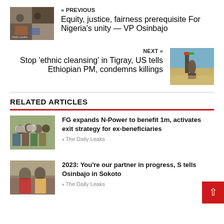[Figure (photo): Group of people at a rally, "Daily Leaks" watermark visible]
« PREVIOUS
Equity, justice, fairness prerequisite For Nigeria's unity — VP Osinbajo
NEXT »
Stop 'ethnic cleansing' in Tigray, US tells Ethiopian PM, condemns killings
[Figure (photo): Soldier standing in desert landscape with Ethiopian flag]
RELATED ARTICLES
[Figure (photo): Crowd of people holding signs at a protest]
FG expands N-Power to benefit 1m, activates exit strategy for ex-beneficiaries
The Daily Leaks
[Figure (photo): Two officials in formal attire]
2023: You're our partner in progress, S tells Osinbajo in Sokoto
The Daily Leaks